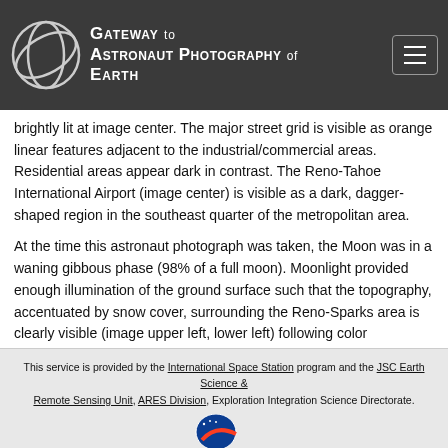Gateway to Astronaut Photography of Earth
brightly lit at image center. The major street grid is visible as orange linear features adjacent to the industrial/commercial areas. Residential areas appear dark in contrast. The Reno-Tahoe International Airport (image center) is visible as a dark, dagger-shaped region in the southeast quarter of the metropolitan area.
At the time this astronaut photograph was taken, the Moon was in a waning gibbous phase (98% of a full moon). Moonlight provided enough illumination of the ground surface such that the topography, accentuated by snow cover, surrounding the Reno-Sparks area is clearly visible (image upper left, lower left) following color enhancement.
This service is provided by the International Space Station program and the JSC Earth Science & Remote Sensing Unit, ARES Division, Exploration Integration Science Directorate.